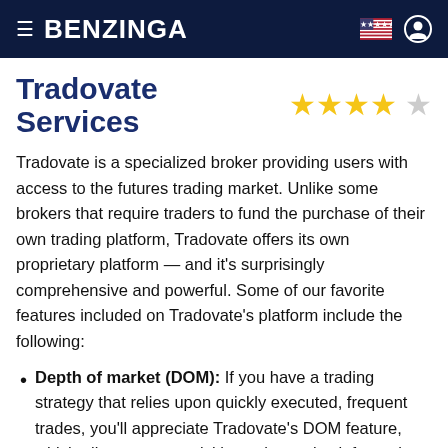BENZINGA
Tradovate Services ★★★★☆
Tradovate is a specialized broker providing users with access to the futures trading market. Unlike some brokers that require traders to fund the purchase of their own trading platform, Tradovate offers its own proprietary platform — and it's surprisingly comprehensive and powerful. Some of our favorite features included on Tradovate's platform include the following:
Depth of market (DOM): If you have a trading strategy that relies upon quickly executed, frequent trades, you'll appreciate Tradovate's DOM feature, which allows you to quickly analyze price information, manage your positions and place orders with enhanced speed.